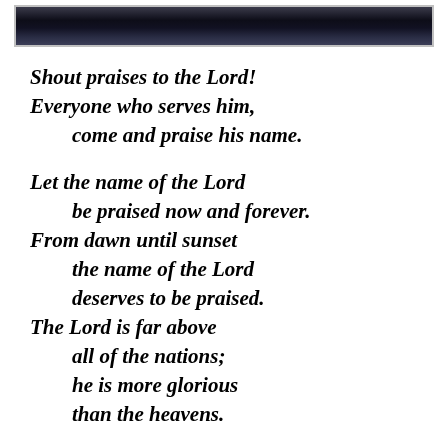[Figure (photo): Dark night sky or landscape photo strip at top of page]
Shout praises to the Lord!
Everyone who serves him,
    come and praise his name.

Let the name of the Lord
    be praised now and forever.
From dawn until sunset
    the name of the Lord
    deserves to be praised.
The Lord is far above
    all of the nations;
    he is more glorious
    than the heavens.